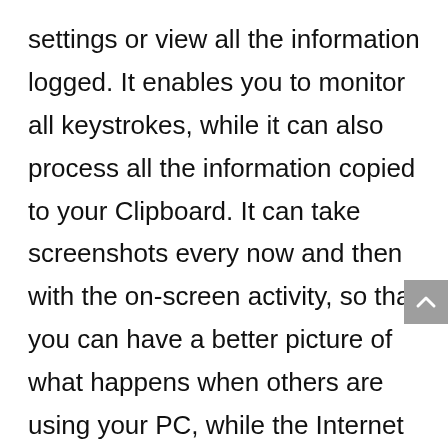settings or view all the information logged. It enables you to monitor all keystrokes, while it can also process all the information copied to your Clipboard. It can take screenshots every now and then with the on-screen activity, so that you can have a better picture of what happens when others are using your PC, while the Internet activity can also be monitored with ease. Monitor on a schedule and hide the keylogger All these operations can be enabled or disabled with just a click of the button, and you can easily select only a specific user to monitor. Scheduling the